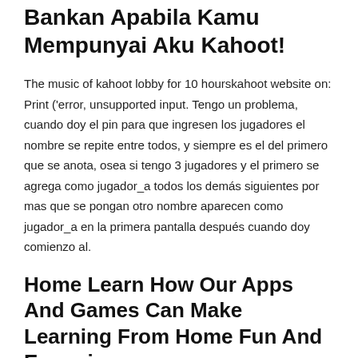Bankan Apabila Kamu Mempunyai Aku Kahoot!
The music of kahoot lobby for 10 hourskahoot website on: Print ('error, unsupported input. Tengo un problema, cuando doy el pin para que ingresen los jugadores el nombre se repite entre todos, y siempre es el del primero que se anota, osea si tengo 3 jugadores y el primero se agrega como jugador_a todos los demás siguientes por mas que se pongan otro nombre aparecen como jugador_a en la primera pantalla después cuando doy comienzo al.
Home Learn How Our Apps And Games Can Make Learning From Home Fun And Engaging.
Findings from the analysis revealed four major themes related to students' experience in the use of kahoot! Kahoot / main.py / jump